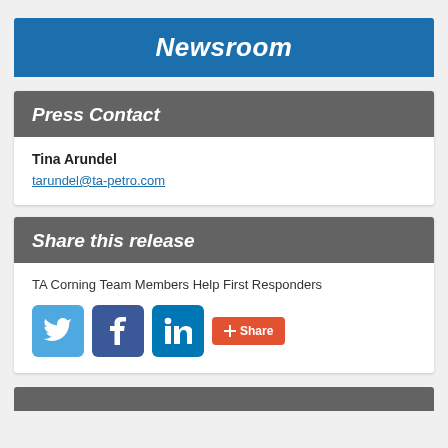Newsroom
Press Contact
Tina Arundel
tarundel@ta-petro.com
Share this release
TA Corning Team Members Help First Responders
[Figure (other): Social sharing icons: Twitter (blue bird), Facebook (blue f), LinkedIn (blue in), and an orange Share button with plus icon]